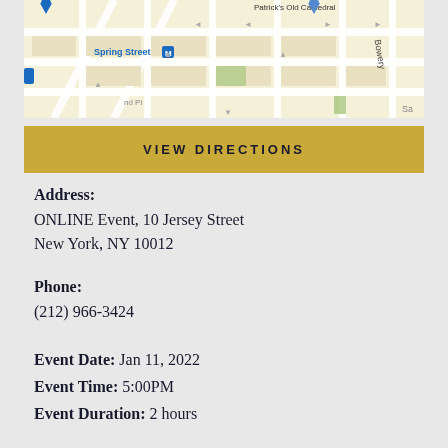[Figure (map): Street map showing area around Spring Street subway station, Bowery, and St. Patrick's Old Cathedral in New York City]
VIEW DIRECTIONS
Address:
ONLINE Event, 10 Jersey Street
New York, NY 10012
Phone:
(212) 966-3424
Event Date: Jan 11, 2022
Event Time: 5:00PM
Event Duration: 2 hours